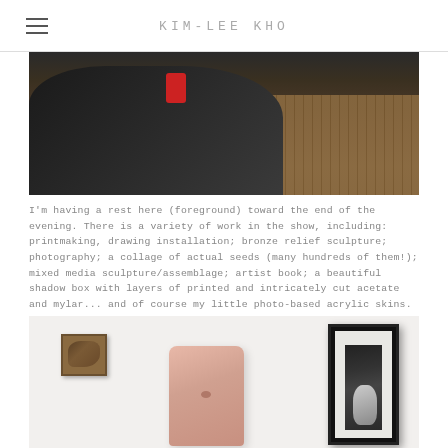KIM-LEE KHO
[Figure (photo): Person in dark clothing resting on a wooden floor in a gallery space, viewed from above. A red accent is visible in the upper area.]
I'm having a rest here (foreground) toward the end of the evening. There is a variety of work in the show, including: printmaking, drawing installation; bronze relief sculpture; photography; a collage of actual seeds (many hundreds of them!); mixed media sculpture/assemblage; artist book; a beautiful shadow box with layers of printed and intricately cut acetate and mylar... and of course my little photo-based acrylic skins.
[Figure (photo): Gallery installation view showing: a small bronze relief sculpture on the left wall, a tall pink sculptural form (resembling a torso) in the center, and a large framed black-and-white photograph of a figure on the right wall.]